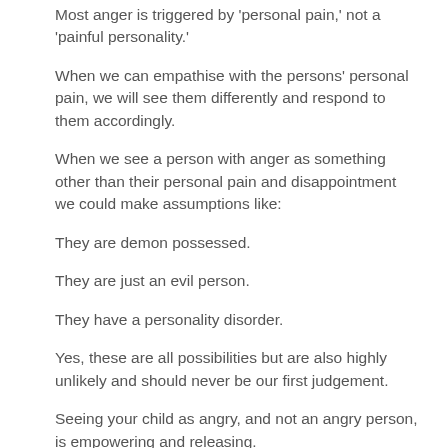Most anger is triggered by 'personal pain,' not a 'painful personality.'
When we can empathise with the persons' personal pain, we will see them differently and respond to them accordingly.
When we see a person with anger as something other than their personal pain and disappointment we could make assumptions like:
They are demon possessed.
They are just an evil person.
They have a personality disorder.
Yes, these are all possibilities but are also highly unlikely and should never be our first judgement.
Seeing your child as angry, and not an angry person, is empowering and releasing.